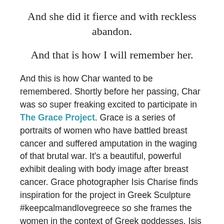And she did it fierce and with reckless abandon.
And that is how I will remember her.
And this is how Char wanted to be remembered. Shortly before her passing, Char was so super freaking excited to participate in The Grace Project. Grace is a series of portraits of women who have battled breast cancer and suffered amputation in the waging of that brutal war. It’s a beautiful, powerful exhibit dealing with body image after breast cancer. Grace photographer Isis Charise finds inspiration for the project in Greek Sculpture #keepcalmandlovegreece so she frames the women in the context of Greek goddesses. Isis is in process of photographing 800 women across